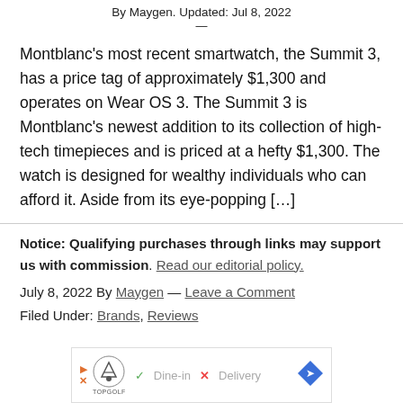By Maygen. Updated: Jul 8, 2022
—
Montblanc's most recent smartwatch, the Summit 3, has a price tag of approximately $1,300 and operates on Wear OS 3. The Summit 3 is Montblanc's newest addition to its collection of high-tech timepieces and is priced at a hefty $1,300. The watch is designed for wealthy individuals who can afford it. Aside from its eye-popping […]
Notice: Qualifying purchases through links may support us with commission. Read our editorial policy.
July 8, 2022 By Maygen — Leave a Comment
Filed Under: Brands, Reviews
[Figure (other): Advertisement banner for Topgolf showing dine-in and delivery options]